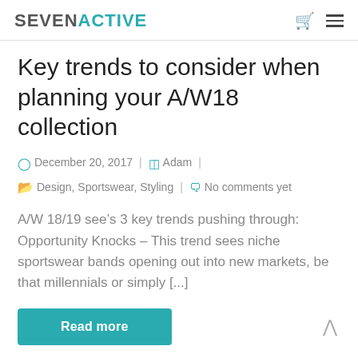SEVENACTIVE
Key trends to consider when planning your A/W18 collection
December 20, 2017 | Adam | Design, Sportswear, Styling | No comments yet
A/W 18/19 see’s 3 key trends pushing through: Opportunity Knocks – This trend sees niche sportswear bands opening out into new markets, be that millennials or simply [...]
Read more